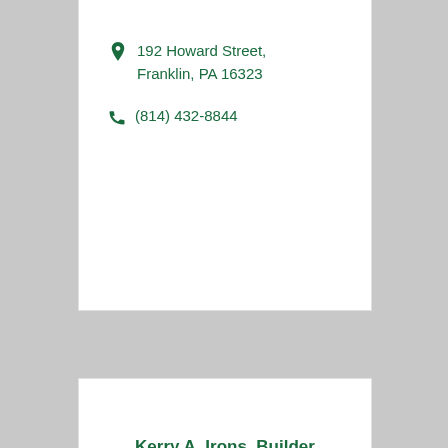192 Howard Street, Franklin, PA 16323
(814) 432-8844
Kerry A. Irons, Builder
1113 Belmar Road, Franklin, PA 16323